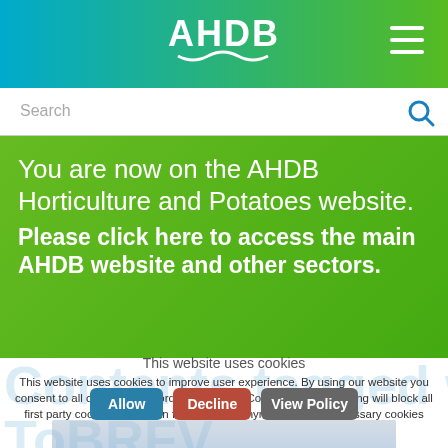[Figure (logo): AHDB logo in white on gradient teal-to-green header bar, with hamburger menu icon top right]
Search
You are now on the AHDB Horticulture and Potatoes website. Please click here to access the main AHDB website and other sectors.
This website uses cookies
This website uses cookies to improve user experience. By using our website you consent to all cookies in accordance with our Cookie Policy. Declining will block all first party cookies other than functional, anonymous, strictly necessary cookies